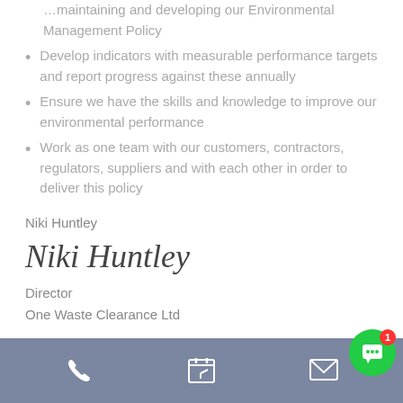maintaining and developing our Environmental Management Policy
Develop indicators with measurable performance targets and report progress against these annually
Ensure we have the skills and knowledge to improve our environmental performance
Work as one team with our customers, contractors, regulators, suppliers and with each other in order to deliver this policy
Niki Huntley
[Figure (illustration): Handwritten signature reading 'Niki Huntley' in cursive script]
Director
One Waste Clearance Ltd
Footer navigation bar with phone, calendar, and email icons